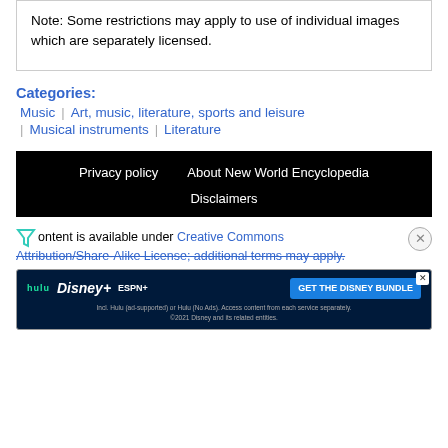Note: Some restrictions may apply to use of individual images which are separately licensed.
Categories:
Music | Art, music, literature, sports and leisure
Musical instruments | Literature
Privacy policy   About New World Encyclopedia   Disclaimers
Content is available under Creative Commons Attribution/Share-Alike License; additional terms may apply.
[Figure (other): Disney Bundle advertisement banner with Hulu, Disney+, ESPN+ logos and GET THE DISNEY BUNDLE call to action]